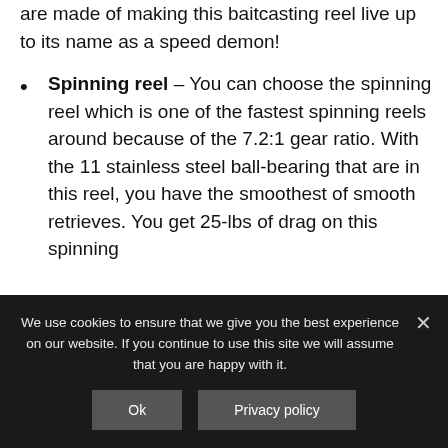are made of making this baitcasting reel live up to its name as a speed demon!
Spinning reel – You can choose the spinning reel which is one of the fastest spinning reels around because of the 7.2:1 gear ratio. With the 11 stainless steel ball-bearing that are in this reel, you have the smoothest of smooth retrieves. You get 25-lbs of drag on this spinning
We use cookies to ensure that we give you the best experience on our website. If you continue to use this site we will assume that you are happy with it.
Ok
Privacy policy